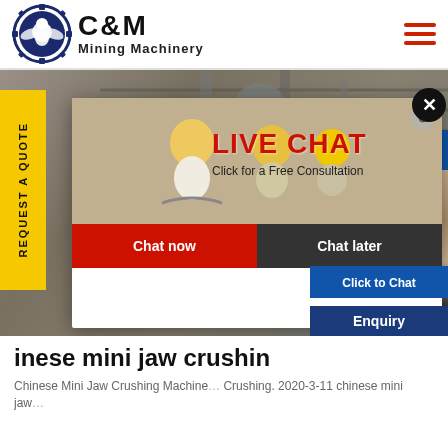[Figure (screenshot): C&M Mining Machinery website screenshot with company logo (eagle in gear circle), navigation header, industrial machinery banner image with yellow sidebar tab 'REQUEST A QUOTE', a live chat popup overlay with workers photo, LIVE CHAT title, 'Click for a Free Consultation', Chat now and Chat later buttons, a headset customer service person on the right, and page content about Chinese Mini Jaw Crushing Machine below.]
inese mini jaw crushin
Chinese Mini Jaw Crushing Machine... Crushing. 2020-3-11 chinese mini jaw...